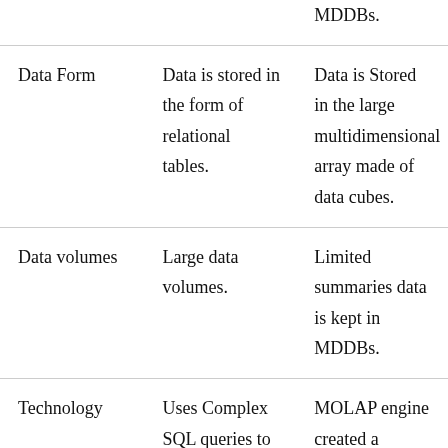|  | ROLAP | MOLAP |
| --- | --- | --- |
|  | MDDBs. | MDDBs. |
| Data Form | Data is stored in the form of relational tables. | Data is Stored in the large multidimensional array made of data cubes. |
| Data volumes | Large data volumes. | Limited summaries data is kept in MDDBs. |
| Technology | Uses Complex SQL queries to fetch data from... | MOLAP engine created a precalculated... |